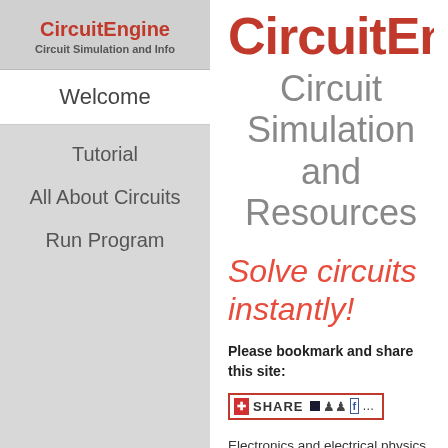CircuitEngine
Circuit Simulation and Info
Welcome
Tutorial
All About Circuits
Run Program
CircuitEngine
Circuit Simulation and Resources
Solve circuits instantly!
Please bookmark and share this site:
[Figure (screenshot): Share button widget with icons for bookmarking and sharing]
Electronics and electrical physics classes worldwide suffer high failure rates. Learning electrical physics is